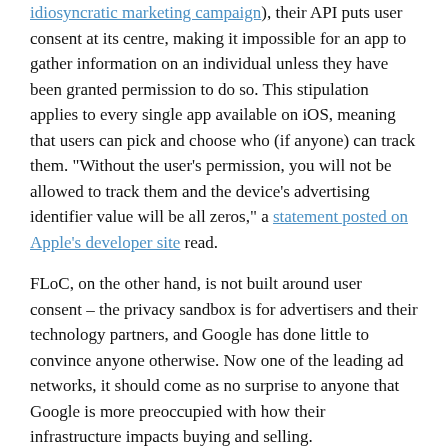idiosyncratic marketing campaign), their API puts user consent at its centre, making it impossible for an app to gather information on an individual unless they have been granted permission to do so. This stipulation applies to every single app available on iOS, meaning that users can pick and choose who (if anyone) can track them. "Without the user's permission, you will not be allowed to track them and the device's advertising identifier value will be all zeros," a statement posted on Apple's developer site read.
FLoC, on the other hand, is not built around user consent – the privacy sandbox is for advertisers and their technology partners, and Google has done little to convince anyone otherwise. Now one of the leading ad networks, it should come as no surprise to anyone that Google is more preoccupied with how their infrastructure impacts buying and selling.
"FLoC collapses the power of the market into the hands of the Google Chrome browser, and increases the leverage of first-parties and their closest tech partners"